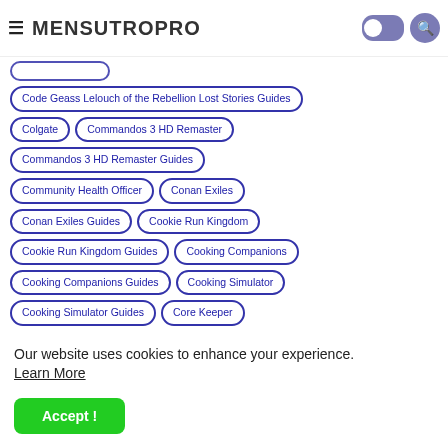MENSUTROPRO
Code Geass Lelouch of the Rebellion Lost Stories Guides
Colgate
Commandos 3 HD Remaster
Commandos 3 HD Remaster Guides
Community Health Officer
Conan Exiles
Conan Exiles Guides
Cookie Run Kingdom
Cookie Run Kingdom Guides
Cooking Companions
Cooking Companions Guides
Cooking Simulator
Cooking Simulator Guides
Core Keeper
Our website uses cookies to enhance your experience. Learn More
Accept !